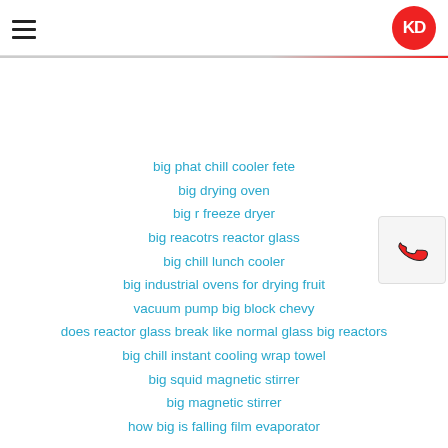KD
big phat chill cooler fete
big drying oven
big r freeze dryer
big reacotrs reactor glass
big chill lunch cooler
big industrial ovens for drying fruit
vacuum pump big block chevy
does reactor glass break like normal glass big reactors
big chill instant cooling wrap towel
big squid magnetic stirrer
big magnetic stirrer
how big is falling film evaporator